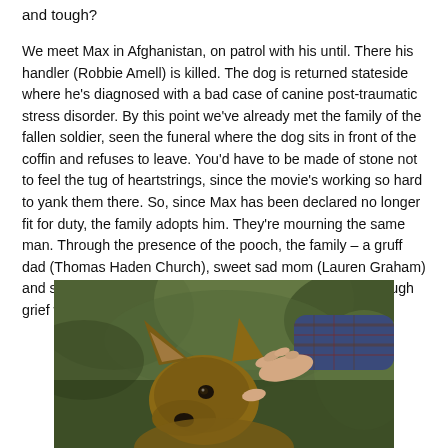and tough?
We meet Max in Afghanistan, on patrol with his until. There his handler (Robbie Amell) is killed. The dog is returned stateside where he's diagnosed with a bad case of canine post-traumatic stress disorder. By this point we've already met the family of the fallen soldier, seen the funeral where the dog sits in front of the coffin and refuses to leave. You'd have to be made of stone not to feel the tug of heartstrings, since the movie's working so hard to yank them there. So, since Max has been declared no longer fit for duty, the family adopts him. They're mourning the same man. Through the presence of the pooch, the family – a gruff dad (Thomas Haden Church), sweet sad mom (Lauren Graham) and sullen teenage boy (Josh Wiggins) – slowly works through grief while learning to live with this new companion.
[Figure (photo): A German Shepherd dog being touched/petted by a human hand reaching from the right, in an outdoor wooded setting with blurred green background.]